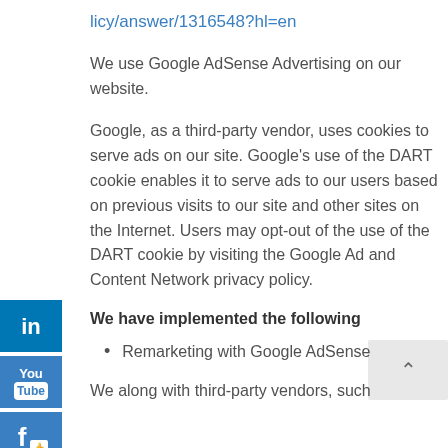licy/answer/1316548?hl=en
We use Google AdSense Advertising on our website.
Google, as a third-party vendor, uses cookies to serve ads on our site. Google's use of the DART cookie enables it to serve ads to our users based on previous visits to our site and other sites on the Internet. Users may opt-out of the use of the DART cookie by visiting the Google Ad and Content Network privacy policy.
We have implemented the following
Remarketing with Google AdSense
We along with third-party vendors, such